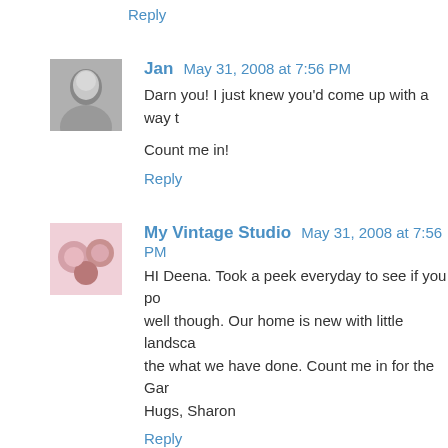Reply
[Figure (photo): Black and white avatar photo of Jan]
Jan May 31, 2008 at 7:56 PM
Darn you! I just knew you'd come up with a way t…
Count me in!
Reply
[Figure (photo): Color avatar photo for My Vintage Studio]
My Vintage Studio May 31, 2008 at 7:56 PM
HI Deena. Took a peek everyday to see if you po… well though. Our home is new with little landsca… the what we have done. Count me in for the Gar… Hugs, Sharon
Reply
[Figure (photo): Avatar photo of Louise]
Louise May 31, 2008 at 8:29 PM